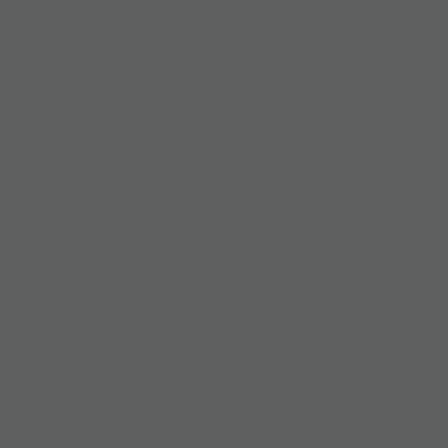[Figure (photo): Left portion of page shows a dark gray torn-paper textured panel covering roughly the left two-thirds of the visible page area.]
adopt
Most of Hayle for practice, o an
[Figure (photo): Book cover visible in the bottom-right corner. Shows a person from behind, with red cursive script text (partially visible) and white uppercase text reading: 'HOLLAND WANGER H SCRUTINIZATION OF THE P HER LIFE IS PREDICTAB CHANGE, BUT IT SEEMS']